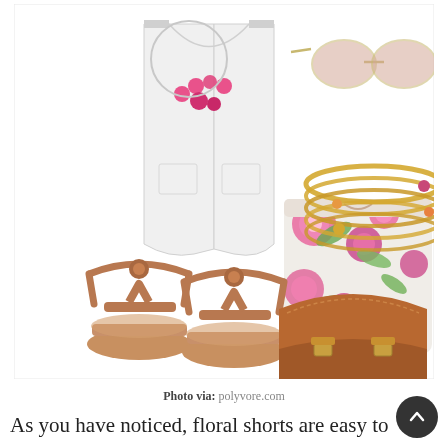[Figure (photo): Fashion outfit collage from Polyvore showing a white sleeveless top, floral shorts, tan flat sandals, gold bangle bracelets, pink bubble necklace, rose-tinted aviator sunglasses, and a tan leather satchel bag arranged on a white background.]
Photo via: polyvore.com
As you have noticed, floral shorts are easy to